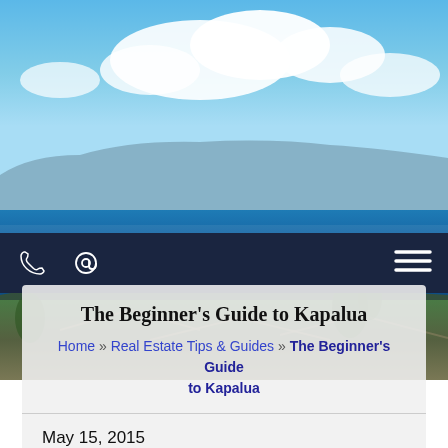[Figure (photo): Aerial/scenic view of Kapalua, Maui Hawaii showing blue ocean, sky with clouds, a distant island/mountain silhouette, and resort rooftops with tropical vegetation in the foreground.]
The Beginner's Guide to Kapalua
Home » Real Estate Tips & Guides » The Beginner's Guide to Kapalua
May 15, 2015